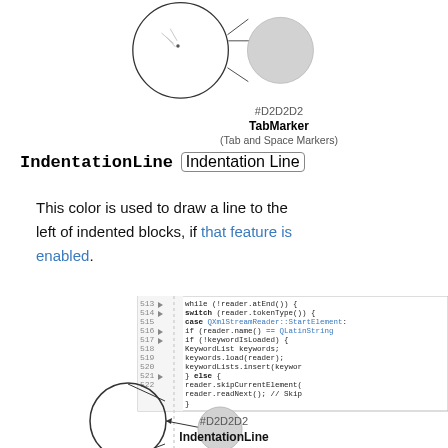[Figure (illustration): Top diagram showing magnified circle with arrows pointing to a smaller grey circle. Label shows #D2D2D2, TabMarker, (Tab and Space Markers)]
#D2D2D2
TabMarker
(Tab and Space Markers)
IndentationLine (Indentation Line)
This color is used to draw a line to the left of indented blocks, if that feature is enabled.
[Figure (screenshot): Code editor screenshot showing lines 513-522 with C++ code using while, switch, case QXmlStreamReader::StartElement, if conditions, KeywordList, etc. Below is a magnified circle with arrow pointing to a smaller grey circle showing a dotted indentation line.]
#D2D2D2
IndentationLine